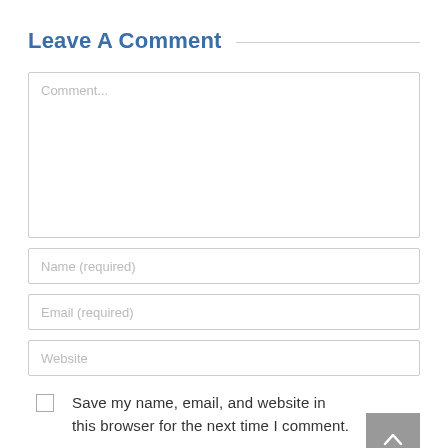Leave A Comment
[Figure (screenshot): Comment text area input field with placeholder text 'Comment...']
[Figure (screenshot): Name input field with placeholder 'Name (required)']
[Figure (screenshot): Email input field with placeholder 'Email (required)']
[Figure (screenshot): Website input field with placeholder 'Website']
Save my name, email, and website in this browser for the next time I comment.
By using this form you agree with the